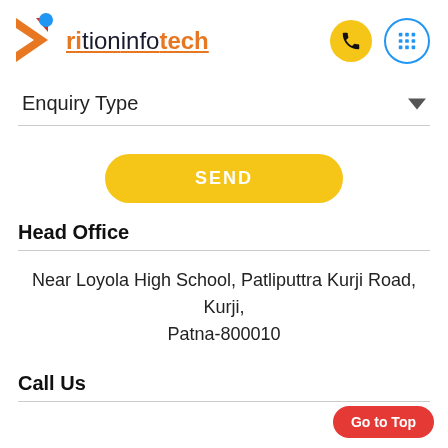[Figure (logo): Arition Infotech logo with orange/red arrow icon and underlined brand name]
Enquiry Type
SEND
Head Office
Near Loyola High School, Patliputra Kurji Road, Kurji, Patna-800010
Call Us
Go to Top